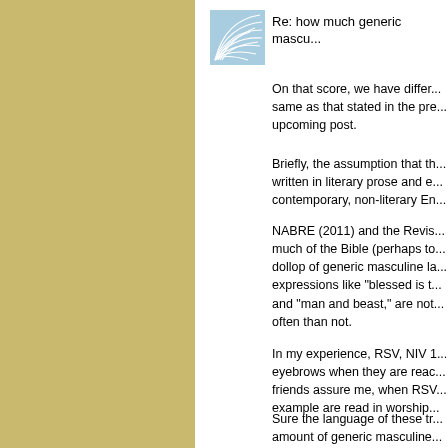[Figure (logo): Forum avatar icon with blue and white wave/fan pattern on light blue background]
Re: how much generic mascu...
On that score, we have differ... same as that stated in the pre... upcoming post.
Briefly, the assumption that th... written in literary prose and e... contemporary, non-literary En...
NABRE (2011) and the Revis... much of the Bible (perhaps to... dollop of generic masculine la... expressions like "blessed is t... and "man and beast," are not... often than not.
In my experience, RSV, NIV 1... eyebrows when they are reac... friends assure me, when RSV... example are read in worship...
Sure the language of these tr... amount of generic masculine... English, the vocabulary and...